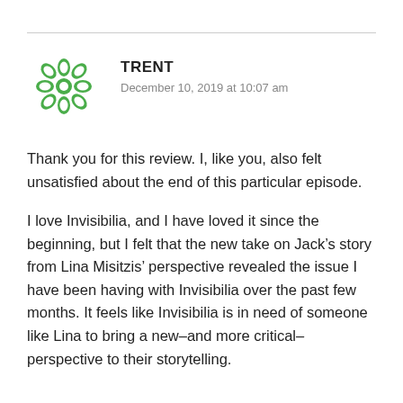[Figure (illustration): Green geometric floral/snowflake avatar icon for user Trent]
TRENT
December 10, 2019 at 10:07 am
Thank you for this review. I, like you, also felt unsatisfied about the end of this particular episode.
I love Invisibilia, and I have loved it since the beginning, but I felt that the new take on Jack’s story from Lina Misitzis’ perspective revealed the issue I have been having with Invisibilia over the past few months. It feels like Invisibilia is in need of someone like Lina to bring a new–and more critical–perspective to their storytelling.